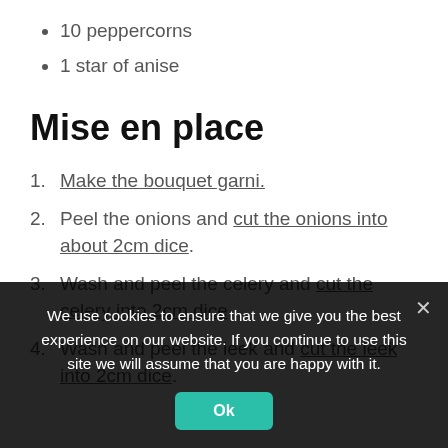10 peppercorns
1 star of anise
Mise en place
1. Make the bouquet garni.
2. Peel the onions and cut the onions into about 2cm dice.
3. Wash and peel the celery and cut the celery into 2cm dice.
4. Wash and peel the leek and cut the leek into 2cm dice.
We use cookies to ensure that we give you the best experience on our website. If you continue to use this site we will assume that you are happy with it.